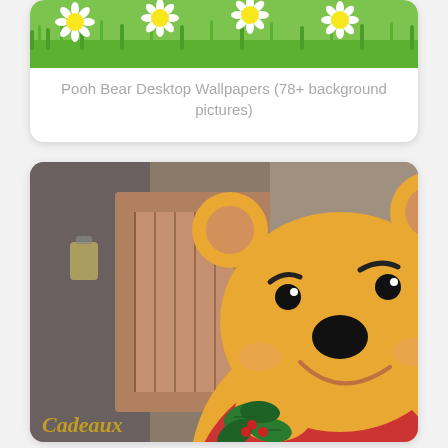[Figure (illustration): A card showing a strip of colorful daisies and green foliage at the top, with caption text below reading 'Pooh Bear Desktop Wallpapers (78+ background pictures)']
Pooh Bear Desktop Wallpapers (78+ background pictures)
[Figure (illustration): A card showing Winnie the Pooh character (yellow bear in red shirt) holding holly with red berries, smiling, against a blurred wooden background. Text 'CADEAUX' visible at bottom left.]